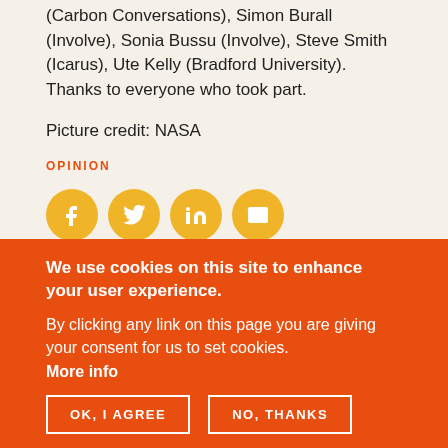(Carbon Conversations), Simon Burall (Involve), Sonia Bussu (Involve), Steve Smith (Icarus), Ute Kelly (Bradford University). Thanks to everyone who took part.
Picture credit: NASA
OPINION
[Figure (other): Social media sharing icons: Facebook, Twitter, LinkedIn, Email — gold circular buttons]
We use cookies on this site to enhance your user experience.
By clicking any link on this page you are giving your consent for us to set cookies.
More info
OK, I AGREE   NO, THANKS